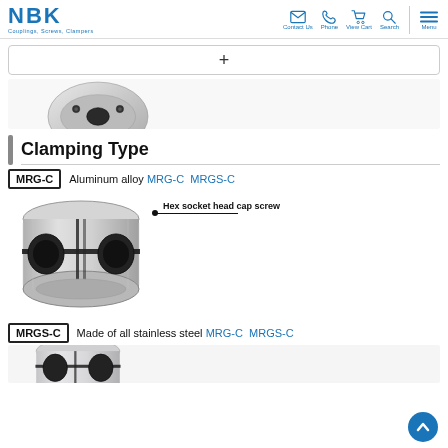NBK Couplings, Screws, Clampers — navigation: Contact Us, Phone, View Cart, Search, Menu
[Figure (other): Search/filter bar with + symbol]
[Figure (photo): Partial photo of an aluminum alloy shaft coupling from above, showing two bores and set screws]
Clamping Type
MRG-C  Aluminum alloy  MRG-C  MRGS-C
[Figure (photo): Photo of MRG-C aluminum alloy clamping type shaft coupling with hex socket head cap screw annotation]
MRGS-C  Made of all stainless steel  MRG-C  MRGS-C
[Figure (photo): Partial photo of MRGS-C stainless steel clamping type shaft coupling]